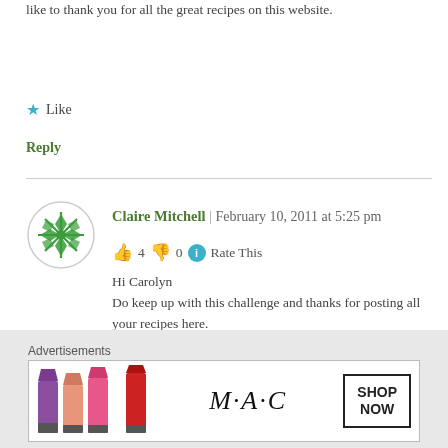like to thank you for all the great recipes on this website.
★ Like
Reply
Claire Mitchell | February 10, 2011 at 5:25 pm
👍 4 👎 0 ℹ Rate This
Hi Carolyn
Do keep up with this challenge and thanks for posting all your recipes here.

I did finish typing up my mother's notes from WW2, and now have bought a few books on this topic.
Advertisements